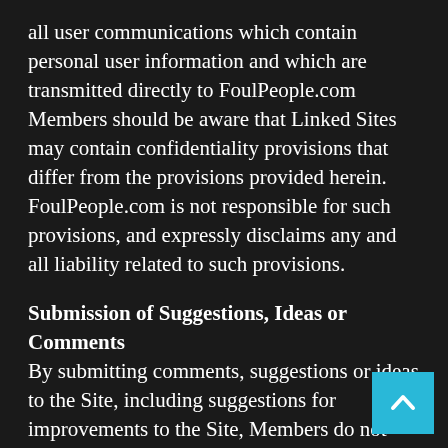all user communications which contain personal user information and which are transmitted directly to FoulPeople.com Members should be aware that Linked Sites may contain confidentiality provisions that differ from the provisions provided herein. FoulPeople.com is not responsible for such provisions, and expressly disclaims any and all liability related to such provisions.
Submission of Suggestions, Ideas or Comments
By submitting comments, suggestions or ideas to the Site, including suggestions for improvements to the Site, Members do not enter into a contractual or confidential relationship with FoulPeople.com. Members agree that the content of their submission will become the sole property of FoulPeople.com and FoulPeople.com will be entitled to use their submissions for any reason